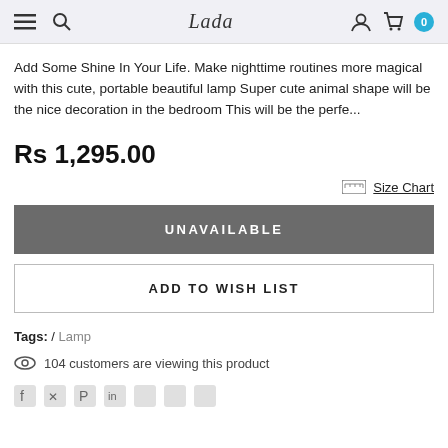Lada — Navigation bar with hamburger, search, logo, user, cart (0)
Add Some Shine In Your Life. Make nighttime routines more magical with this cute, portable beautiful lamp Super cute animal shape will be the nice decoration in the bedroom This will be the perfe...
Rs 1,295.00
Size Chart
UNAVAILABLE
ADD TO WISH LIST
Tags: / Lamp
104 customers are viewing this product